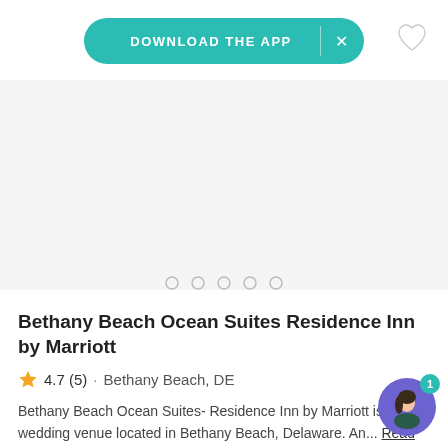[Figure (screenshot): Download the app banner button in teal/green color with white text and X close button]
[Figure (illustration): Heart/favorite icon outline in top right corner]
[Figure (photo): Hotel photo carousel area (blank/loading), with 5 navigation dots at the bottom]
Bethany Beach Ocean Suites Residence Inn by Marriott
4.7 (5) · Bethany Beach, DE
Bethany Beach Ocean Suites- Residence Inn by Marriott is a hotel wedding venue located in Bethany Beach, Delaware. An... Read more
[Figure (illustration): Chat assistant avatar - circular purple background with illustrated female character and teal badge showing number 1]